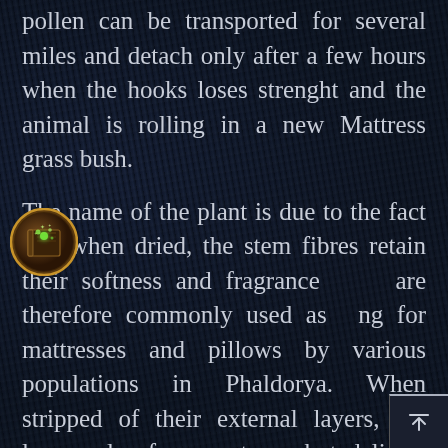pollen can be transported for several miles and detach only after a few hours when the hooks loses strenght and the animal is rolling in a new Mattress grass bush.
The name of the plant is due to the fact that when dried, the stem fibres retain their softness and fragrance and are therefore commonly used as filling for mattresses and pillows by various populations in Phaldorya. When stripped of their external layers, the leaves also form a strong but delicate textile fibre that stins well and is easy to weave and kn with.
[Figure (illustration): A circular icon showing a glowing green magical book with sparkles, set against a dark brown/gold circular background with a decorative border]